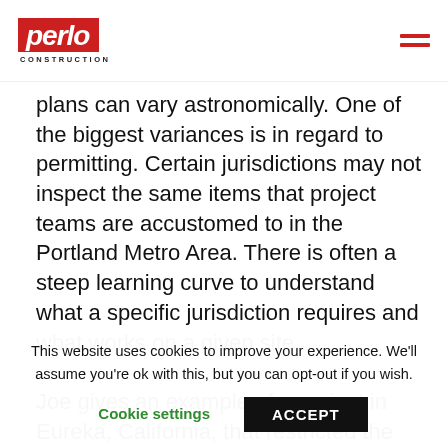perlo CONSTRUCTION
plans can vary astronomically. One of the biggest variances is in regard to permitting. Certain jurisdictions may not inspect the same items that project teams are accustomed to in the Portland Metro Area. There is often a steep learning curve to understand what a specific jurisdiction requires and what works on a given site.

Joe gives an example of a project in Eureka, California, that restricted the
This website uses cookies to improve your experience. We'll assume you're ok with this, but you can opt-out if you wish.
Cookie settings
ACCEPT